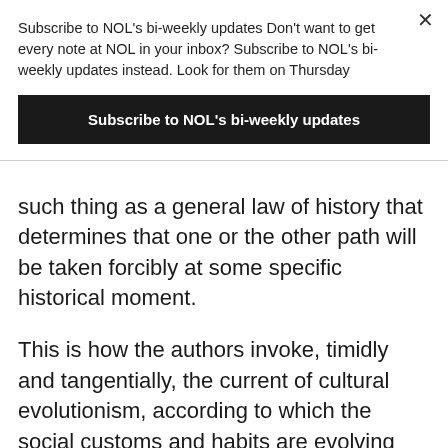Subscribe to NOL's bi-weekly updates Don't want to get every note at NOL in your inbox? Subscribe to NOL's bi-weekly updates instead. Look for them on Thursday
Subscribe to NOL's bi-weekly updates
such thing as a general law of history that determines that one or the other path will be taken forcibly at some specific historical moment.
This is how the authors invoke, timidly and tangentially, the current of cultural evolutionism, according to which the social customs and habits are evolving following the changes in environmental conditions, but without having a predetermined